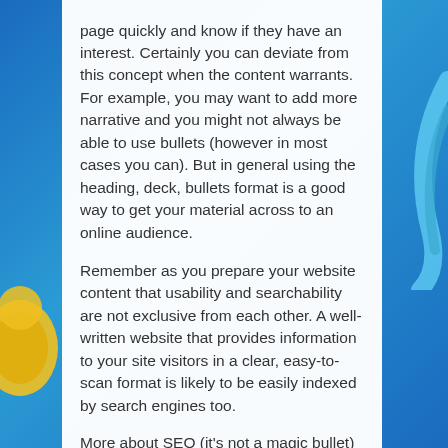page quickly and know if they have an interest. Certainly you can deviate from this concept when the content warrants. For example, you may want to add more narrative and you might not always be able to use bullets (however in most cases you can). But in general using the heading, deck, bullets format is a good way to get your material across to an online audience.
Remember as you prepare your website content that usability and searchability are not exclusive from each other. A well-written website that provides information to your site visitors in a clear, easy-to-scan format is likely to be easily indexed by search engines too.
More about SEO (it's not a magic bullet) coming soon.